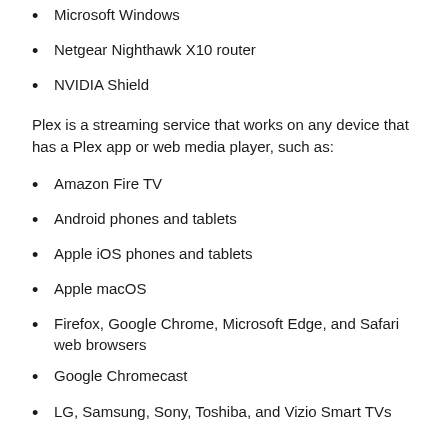Microsoft Windows
Netgear Nighthawk X10 router
NVIDIA Shield
Plex is a streaming service that works on any device that has a Plex app or web media player, such as:
Amazon Fire TV
Android phones and tablets
Apple iOS phones and tablets
Apple macOS
Firefox, Google Chrome, Microsoft Edge, and Safari web browsers
Google Chromecast
LG, Samsung, Sony, Toshiba, and Vizio Smart TVs